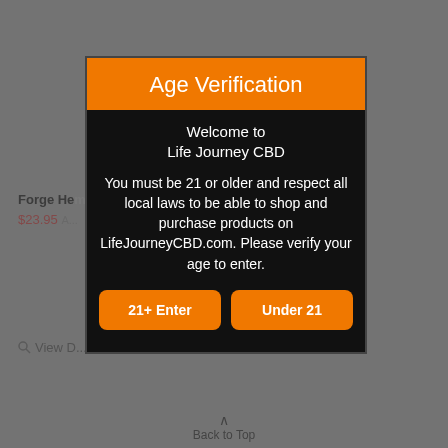Age Verification
Welcome to Life Journey CBD
You must be 21 or older and respect all local laws to be able to shop and purchase products on LifeJourneyCBD.com. Please verify your age to enter.
21+ Enter
Under 21
Back to Top